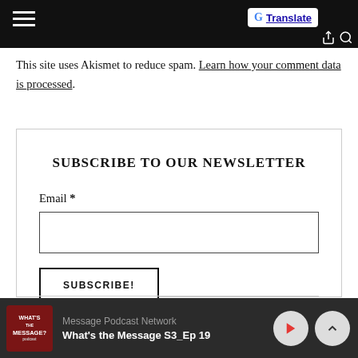Google Translate
This site uses Akismet to reduce spam. Learn how your comment data is processed.
SUBSCRIBE TO OUR NEWSLETTER
Email *
SUBSCRIBE!
Message Podcast Network — What's the Message S3_Ep 19